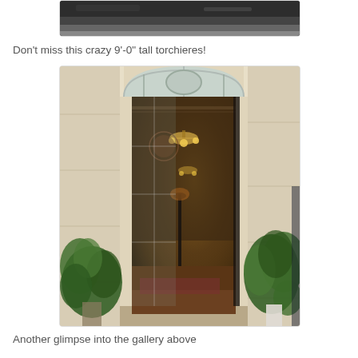[Figure (photo): Partial top image, cropped view showing dark surface]
Don't miss this crazy 9'-0" tall torchieres!
[Figure (photo): A grand entrance doorway with arched transom window and glass-paned door open to a corridor with chandeliers and ornate decor, flanked by potted plants]
Another glimpse into the gallery above